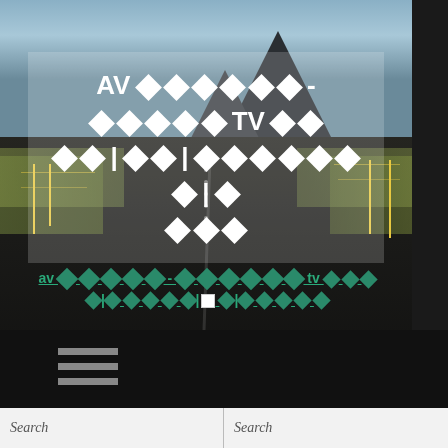[Figure (photo): A road stretching into the distance with mountains and sky in the background, overlaid with a semi-transparent white box containing title text in white with diamond/question-mark characters, and teal-colored subtitle text below]
AV ????-?????? TV ?? ??|??|????????|? ???
av ??????-?????? tv ??? ?|????|?|?????
Search | Search